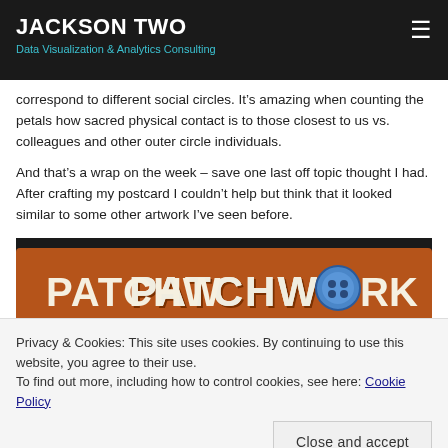JACKSON TWO
Data Visualization & Analytics Consulting
correspond to different social circles. It’s amazing when counting the petals how sacred physical contact is to those closest to us vs. colleagues and other outer circle individuals.
And that’s a wrap on the week – save one last off topic thought I had. After crafting my postcard I couldn’t help but think that it looked similar to some other artwork I’ve seen before.
[Figure (photo): Photo of the Patchwork board game box cover showing the word PATCHWORK in large letters with a blue button replacing the O in WORK]
Privacy & Cookies: This site uses cookies. By continuing to use this website, you agree to their use.
To find out more, including how to control cookies, see here: Cookie Policy
Close and accept